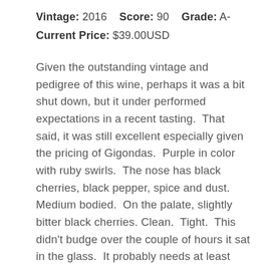Vintage: 2016   Score: 90   Grade: A-
Current Price: $39.00USD
Given the outstanding vintage and pedigree of this wine, perhaps it was a bit shut down, but it under performed expectations in a recent tasting.  That said, it was still excellent especially given the pricing of Gigondas.  Purple in color with ruby swirls.  The nose has black cherries, black pepper, spice and dust.  Medium bodied.  On the palate, slightly bitter black cherries.  Clean.  Tight.  This didn't budge over the couple of hours it sat in the glass.  It probably needs at least three to five more years to open and then should